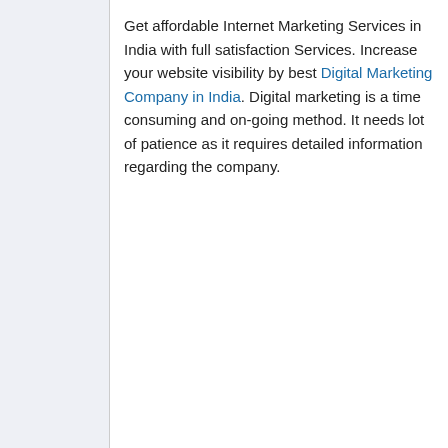Get affordable Internet Marketing Services in India with full satisfaction Services. Increase your website visibility by best Digital Marketing Company in India. Digital marketing is a time consuming and on-going method. It needs lot of patience as it requires detailed information regarding the company.
Web Design...
2020-04-11 16:28:46
66
Re: Congratulation with the new/old forum
At Miracle, Digital Marketing and Transformation Agency in Hong Kong, we help our clients improve digital services to make them simple, clear and fast. We help our client transform, create and improve their product in a digital way such as branding, web & app design, e-commerce solution, Digital Marketing strategy, Virtual Reality